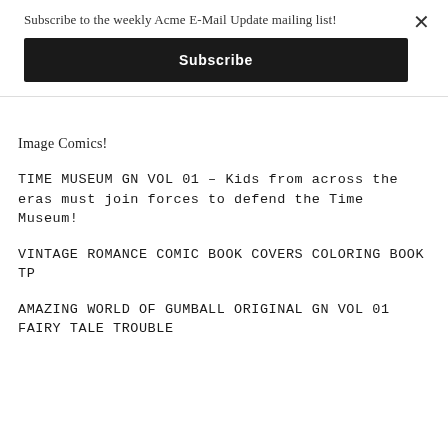Subscribe to the weekly Acme E-Mail Update mailing list!
Subscribe
Image Comics!
TIME MUSEUM GN VOL 01 – Kids from across the eras must join forces to defend the Time Museum!
VINTAGE ROMANCE COMIC BOOK COVERS COLORING BOOK TP
AMAZING WORLD OF GUMBALL ORIGINAL GN VOL 01 FAIRY TALE TROUBLE